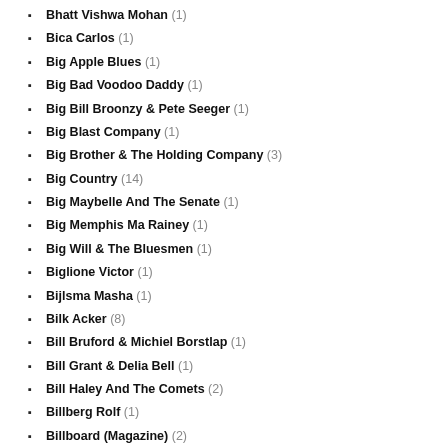Bhatt Vishwa Mohan (1)
Bica Carlos (1)
Big Apple Blues (1)
Big Bad Voodoo Daddy (1)
Big Bill Broonzy & Pete Seeger (1)
Big Blast Company (1)
Big Brother & The Holding Company (3)
Big Country (14)
Big Maybelle And The Senate (1)
Big Memphis Ma Rainey (1)
Big Will & The Bluesmen (1)
Biglione Victor (1)
Bijlsma Masha (1)
Bilk Acker (8)
Bill Bruford & Michiel Borstlap (1)
Bill Grant & Delia Bell (1)
Bill Haley And The Comets (2)
Billberg Rolf (1)
Billboard (Magazine) (2)
Billy Cobham & George Duke Band (1)
Billy Hart Quartet (1)